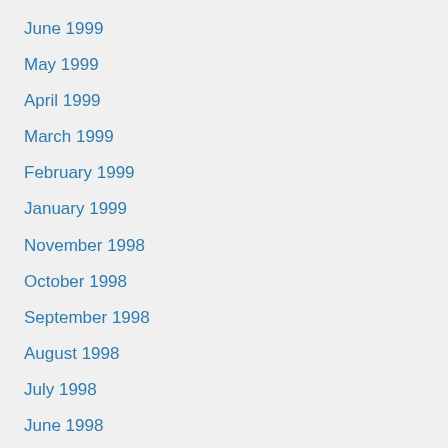June 1999
May 1999
April 1999
March 1999
February 1999
January 1999
November 1998
October 1998
September 1998
August 1998
July 1998
June 1998
May 1998